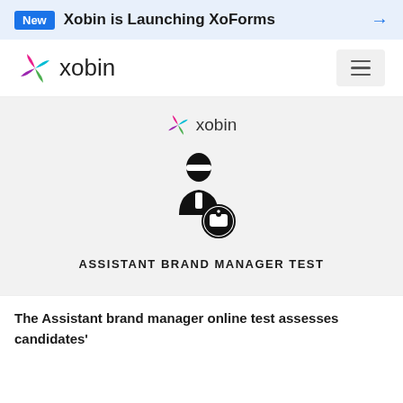New  Xobin is Launching XoForms →
[Figure (logo): Xobin logo with colorful X icon and text 'xobin' in the navigation bar]
[Figure (logo): Small Xobin logo with colorful X icon and text 'xobin' in the content area]
[Figure (illustration): Icon of a person (assistant brand manager) with a tag/label badge overlay]
ASSISTANT BRAND MANAGER TEST
The Assistant brand manager online test assesses candidates'